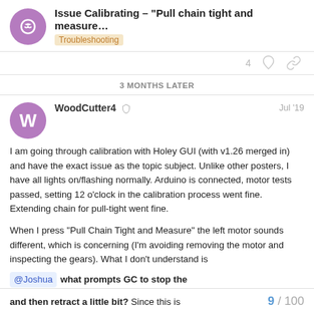Issue Calibrating - "Pull chain tight and measure..." | Troubleshooting
3 MONTHS LATER
WoodCutter4 — Jul '19
I am going through calibration with Holey GUI (with v1.26 merged in) and have the exact issue as the topic subject. Unlike other posters, I have all lights on/flashing normally. Arduino is connected, motor tests passed, setting 12 o'clock in the calibration process went fine. Extending chain for pull-tight went fine.
When I press "Pull Chain Tight and Measure" the left motor sounds different, which is concerning (I'm avoiding removing the motor and inspecting the gears). What I don't understand is @Joshua what prompts GC to stop the and then retract a little bit? Since this is
9 / 100